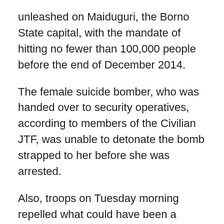unleashed on Maiduguri, the Borno State capital, with the mandate of hitting no fewer than 100,000 people before the end of December 2014.
The female suicide bomber, who was handed over to security operatives, according to members of the Civilian JTF, was unable to detonate the bomb strapped to her before she was arrested.
Also, troops on Tuesday morning repelled what could have been a deadly attack by the Boko Haram insurgents in Konduga Local Government Area of Borno State. Nigerian Tribune gathered that the insurgents came into the town at about 5am, but met a strong Army, which battled them out.
It could be observed, however, that tension was very high